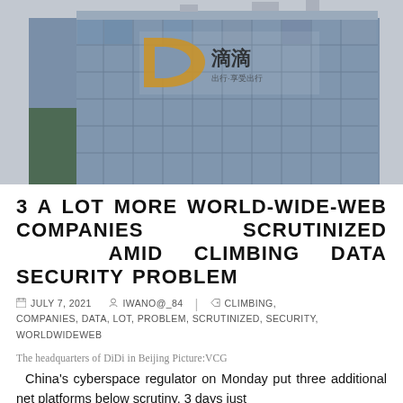[Figure (photo): Photograph of the DiDi headquarters building in Beijing, showing the building exterior with the DiDi logo (orange D and Chinese characters) on the glass facade against a grey sky]
3 A LOT MORE WORLD-WIDE-WEB COMPANIES SCRUTINIZED AMID CLIMBING DATA SECURITY PROBLEM
JULY 7, 2021   IWANO@_84   CLIMBING, COMPANIES, DATA, LOT, PROBLEM, SCRUTINIZED, SECURITY, WORLDWIDEWEB
The headquarters of DiDi in Beijing Picture:VCG
China's cyberspace regulator on Monday put three additional net platforms below scrutiny, 3 days just